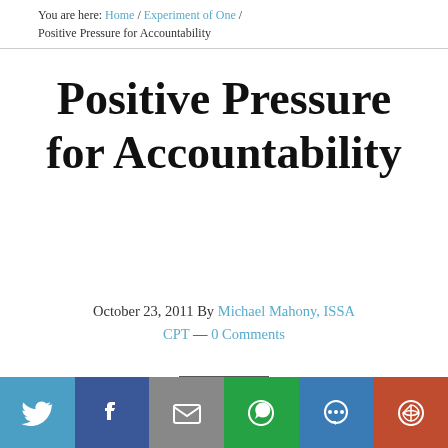You are here: Home / Experiment of One / Positive Pressure for Accountability
Positive Pressure for Accountability
October 23, 2011 By Michael Mahony, ISSA CPT — 0 Comments
[Figure (other): Social share bar with Twitter, Facebook, Email, WhatsApp, SMS, and More buttons]